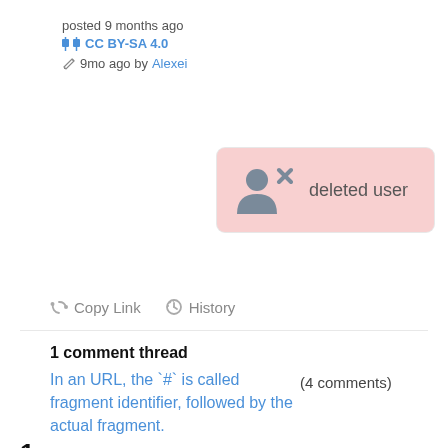posted 9 months ago
CC BY-SA 4.0
9mo ago by Alexei
[Figure (illustration): Deleted user avatar icon (person silhouette with X mark) inside a pink rounded rectangle, labeled 'deleted user']
Copy Link   History
1 comment thread
In an URL, the `#` is called fragment identifier, followed by the actual fragment.
(4 comments)
1 answer
Score   Active